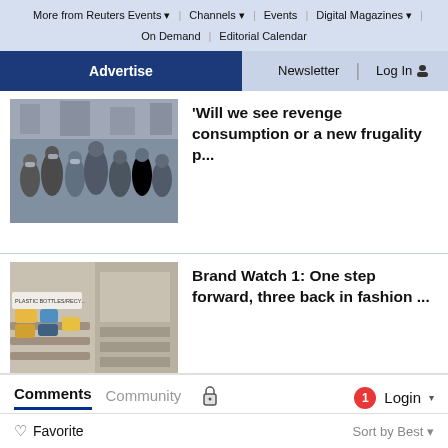More from Reuters Events | Channels | Events | Digital Magazines | On Demand | Editorial Calendar
Advertise | Newsletter | Log In
[Figure (photo): Crowd of masked people on a busy street]
'Will we see revenge consumption or a new frugality p...
[Figure (photo): Person shopping at a store with recycled plastic bottle bags on display]
Brand Watch 1: One step forward, three back in fashion ...
Comments
Community
Login
Favorite
Sort by Best